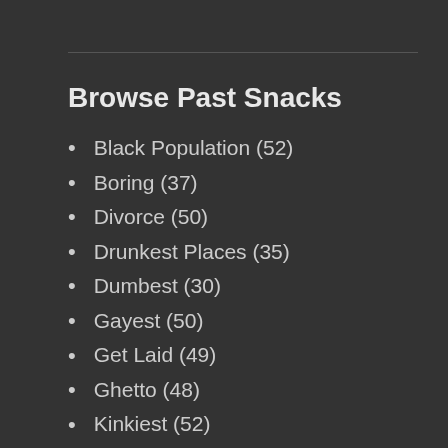Browse Past Snacks
Black Population (52)
Boring (37)
Divorce (50)
Drunkest Places (35)
Dumbest (30)
Gayest (50)
Get Laid (49)
Ghetto (48)
Kinkiest (52)
Miserable (38)
Most Conservative Cities (50)
Most Dangerous Cities (52)